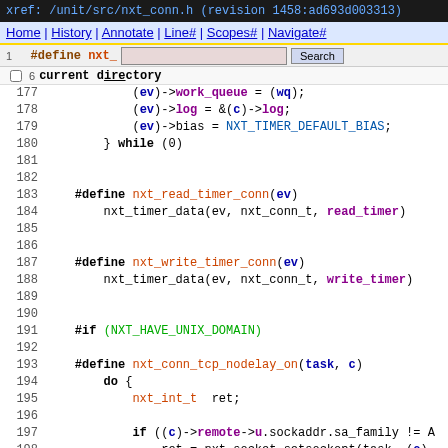xref: /unit/src/nxt_conn.h (revision 1458:ad693d003313)
Home | History | Annotate | Line# | Scopes# | Navigate# | Raw | Download  [Search]
current directory
Code listing lines 175-200 of nxt_conn.h
[Figure (screenshot): Source code viewer showing C preprocessor macros in nxt_conn.h, lines 175-200, with syntax highlighting. Contains macro definitions for nxt_read_timer_conn, nxt_write_timer_conn, nxt_conn_tcp_nodelay_on with #if NXT_HAVE_UNIX_DOMAIN guard.]